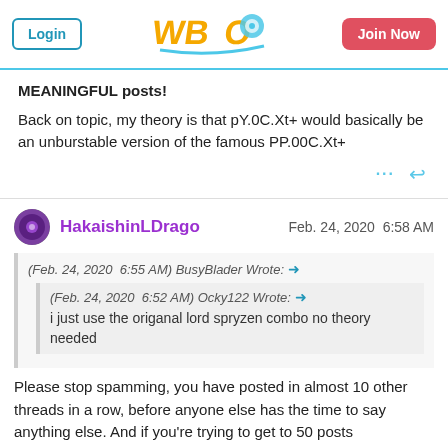Login | WBO | Join Now
MEANINGFUL posts!
Back on topic, my theory is that pY.0C.Xt+ would basically be an unburstable version of the famous PP.00C.Xt+
HakaishinLDrago   Feb. 24, 2020  6:58 AM
(Feb. 24, 2020  6:55 AM) BusyBlader Wrote:
(Feb. 24, 2020  6:52 AM) Ocky122 Wrote: i just use the origanal lord spryzen combo no theory needed
Please stop spamming, you have posted in almost 10 other threads in a row, before anyone else has the time to say anything else. And if you're trying to get to 50 posts